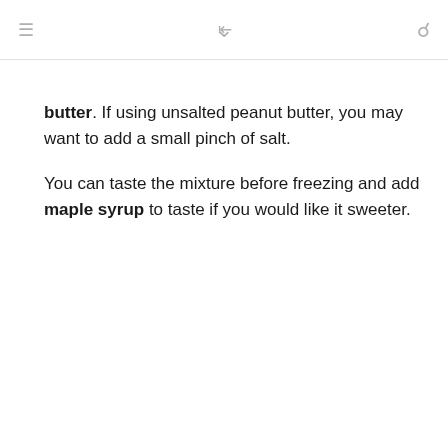≡ ⋘ ∨ 🔍
butter. If using unsalted peanut butter, you may want to add a small pinch of salt.
You can taste the mixture before freezing and add maple syrup to taste if you would like it sweeter.